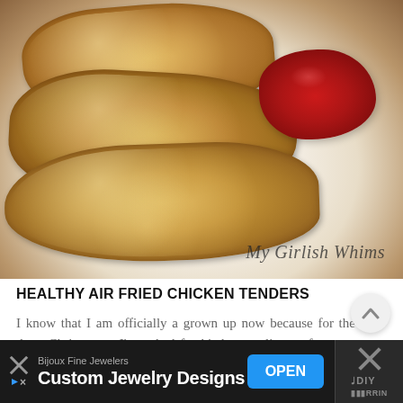[Figure (photo): Photo of breaded air-fried chicken tenders on a white plate with a dollop of ketchup, watermark text 'My Girlish Whims' in cursive at the bottom right]
HEALTHY AIR FRIED CHICKEN TENDERS
I know that I am officially a grown up now because for the past three Christmases I've asked for kitchen appliances for my presents.  I...